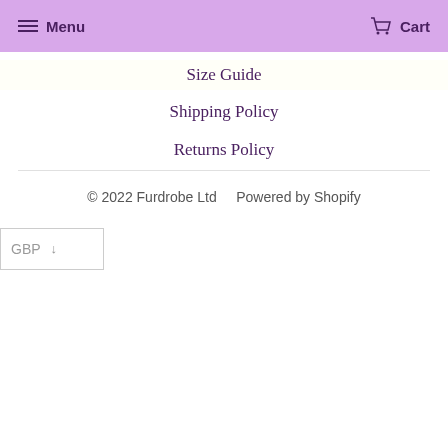Menu   Cart
Size Guide
Shipping Policy
Returns Policy
© 2022 Furdrobe Ltd   Powered by Shopify
GBP ↓